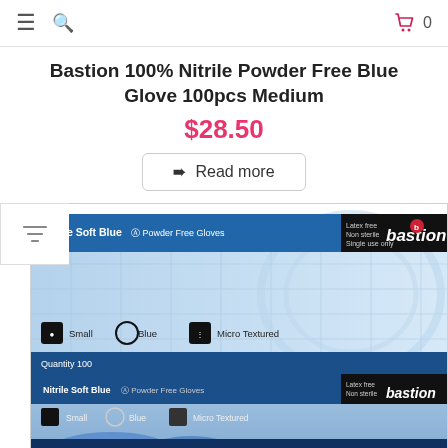Navigation bar with hamburger menu, search icon, cart icon showing 0
Bastion 100% Nitrile Powder Free Blue Glove 100pcs Medium
$28.50
Read more
[Figure (photo): Box of Bastion Nitrile Soft Blue Powder Free Gloves, Quantity 100, Small size, Blue color, Micro Textured, with bastion branding logo on black panel. Two boxes stacked showing front and side labels.]